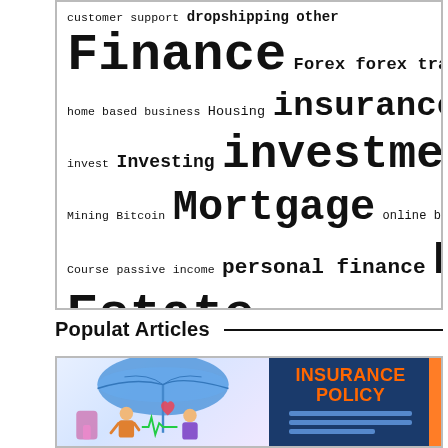[Figure (infographic): Word cloud related to finance topics in a bordered box. Words include: customer support, dropshipping, other, Finance, Forex, forex trading, franchising, home based business, Housing, insurance & risk, invest, Investing, investment, loan, Mining Bitcoin, Mortgage, online business, online Course, passive income, personal finance, Real Estate, renting, Revenue, ripple, share investment, shares, Stock Market, venture capital, write for us]
Populat Articles
[Figure (illustration): Illustration showing a family under a blue umbrella with hearts and health icons on the left, and an INSURANCE POLICY document with blue horizontal lines on the right against a dark blue background.]